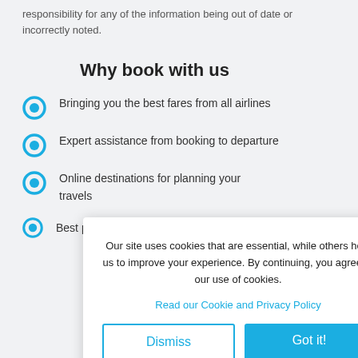responsibility for any of the information being out of date or incorrectly noted.
Why book with us
Bringing you the best fares from all airlines
Expert assistance from booking to departure
Online destinations for planning your travels
Our site uses cookies that are essential, while others help us to improve your experience. By continuing, you agree to our use of cookies.
Read our Cookie and Privacy Policy
Dismiss
Got it!
Best prices